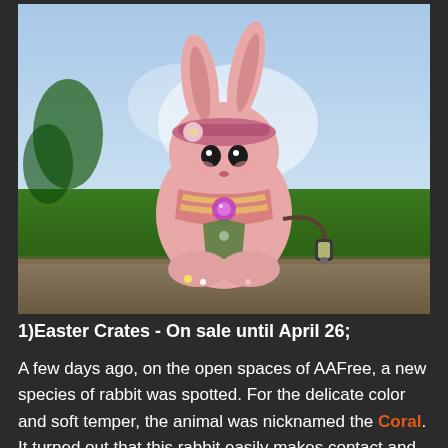[Figure (photo): A pink cartoon-style rabbit character with long ears, wearing a decorative hat with flowers, a pink and yellow striped outfit with a jeweled brooch, and holding a small green pouch. The rabbit is sitting on a stone surface with a blurred green landscape and blue sky in the background. A small lantern is attached to the rabbit's tail.]
1)Easter Crates - On sale until April 26;
A few days ago, on the open spaces of AAFree, a new species of rabbit was spotted. For the delicate color and soft temper, the animal was nicknamed the Coral. It turned out that this rabbit easily makes contact and is very